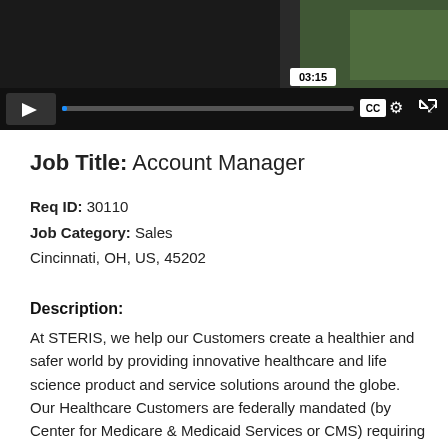[Figure (screenshot): Video player showing a paused video with timestamp 03:15, progress bar, CC button, settings gear icon, and fullscreen expand icon on a dark control bar. Video content shows a partially visible outdoor scene.]
Job Title:  Account Manager
Req ID:  30110
Job Category:  Sales
Cincinnati, OH, US, 45202
Description:
At STERIS, we help our Customers create a healthier and safer world by providing innovative healthcare and life science product and service solutions around the globe.
Our Healthcare Customers are federally mandated (by Center for Medicare & Medicaid Services or CMS) requiring vendors to have the COVID-19